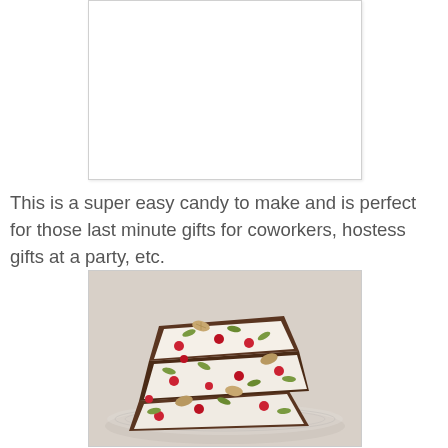[Figure (photo): White rectangular area representing a top image placeholder]
This is a super easy candy to make and is perfect for those last minute gifts for coworkers, hostess gifts at a party, etc.
[Figure (photo): Photo of chocolate bark candy topped with white chocolate, cranberries, almonds, pistachios, and pumpkin seeds on a glass plate]